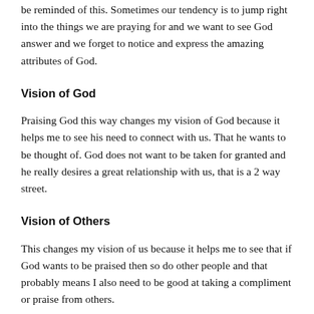be reminded of this. Sometimes our tendency is to jump right into the things we are praying for and we want to see God answer and we forget to notice and express the amazing attributes of God.
Vision of God
Praising God this way changes my vision of God because it helps me to see his need to connect with us. That he wants to be thought of. God does not want to be taken for granted and he really desires a great relationship with us, that is a 2 way street.
Vision of Others
This changes my vision of us because it helps me to see that if God wants to be praised then so do other people and that probably means I also need to be good at taking a compliment or praise from others.